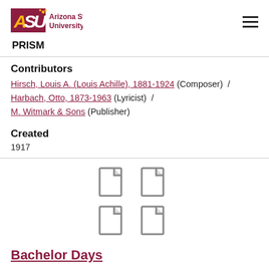ASU Arizona State University | PRISM
Contributors
Hirsch, Louis A. (Louis Achille), 1881-1924 (Composer) / Harbach, Otto, 1873-1963 (Lyricist) / M. Witmark & Sons (Publisher)
Created
1917
[Figure (illustration): Four document/file icons arranged in a 2x2 grid]
Bachelor Days